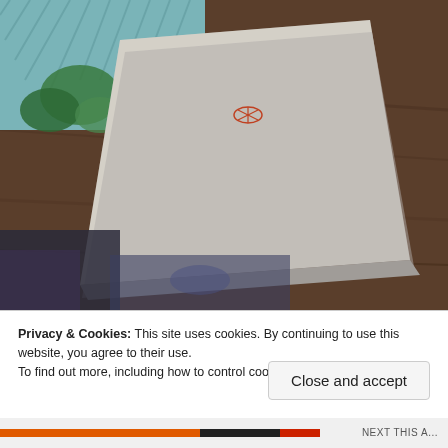[Figure (photo): Photograph of a light gray/beige notebook or booklet with a small red emblem/logo in the center, lying on a dark wood table. In the background there is a teal herringbone fabric and some green plants.]
Privacy & Cookies: This site uses cookies. By continuing to use this website, you agree to their use.
To find out more, including how to control cookies, see here: Cookie Policy
Close and accept